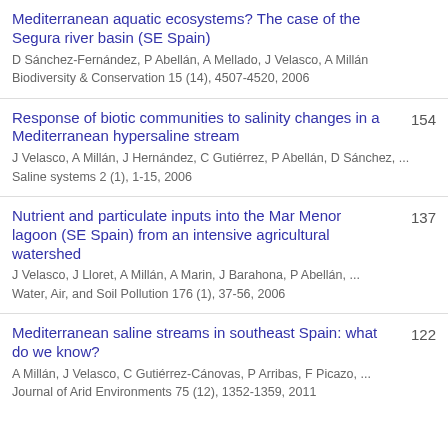Mediterranean aquatic ecosystems? The case of the Segura river basin (SE Spain)
D Sánchez-Fernández, P Abellán, A Mellado, J Velasco, A Millán
Biodiversity & Conservation 15 (14), 4507-4520, 2006
Response of biotic communities to salinity changes in a Mediterranean hypersaline stream
J Velasco, A Millán, J Hernández, C Gutiérrez, P Abellán, D Sánchez, ...
Saline systems 2 (1), 1-15, 2006
154
Nutrient and particulate inputs into the Mar Menor lagoon (SE Spain) from an intensive agricultural watershed
J Velasco, J Lloret, A Millán, A Marin, J Barahona, P Abellán, ...
Water, Air, and Soil Pollution 176 (1), 37-56, 2006
137
Mediterranean saline streams in southeast Spain: what do we know?
A Millán, J Velasco, C Gutiérrez-Cánovas, P Arribas, F Picazo, ...
Journal of Arid Environments 75 (12), 1352-1359, 2011
122